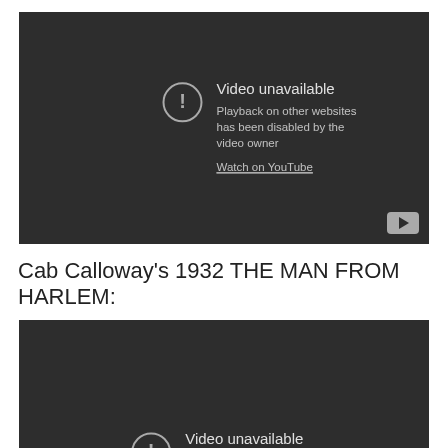[Figure (screenshot): YouTube embedded video player showing 'Video unavailable' error. Text reads: 'Video unavailable. Playback on other websites has been disabled by the video owner. Watch on YouTube.' YouTube logo button visible bottom right.]
Cab Calloway's 1932 THE MAN FROM HARLEM:
[Figure (screenshot): YouTube embedded video player showing 'Video unavailable' error. Text reads: 'Video unavailable. This video is not available.']